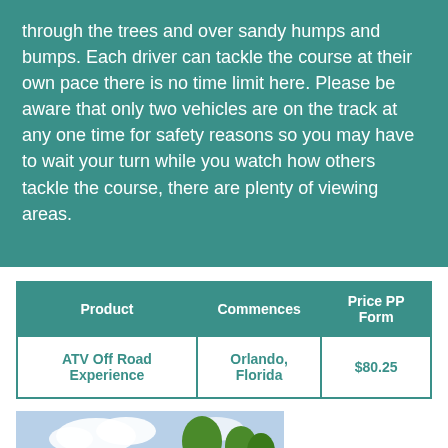through the trees and over sandy humps and bumps. Each driver can tackle the course at their own pace there is no time limit here. Please be aware that only two vehicles are on the track at any one time for safety reasons so you may have to wait your turn while you watch how others tackle the course, there are plenty of viewing areas.
| Product | Commences | Price PP Form |
| --- | --- | --- |
| ATV Off Road Experience | Orlando, Florida | $80.25 |
[Figure (photo): A person riding a red ATV quad bike on a dirt trail through green countryside with trees and blue sky in the background.]